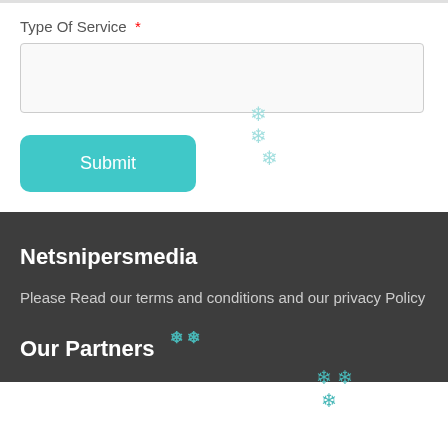Type Of Service *
[Figure (screenshot): Empty text input box for Type Of Service field]
[Figure (illustration): Submit button with teal/cyan background and snowflake decorations]
Netsnipersmedia
Please Read our terms and conditions and our privacy Policy
Our Partners